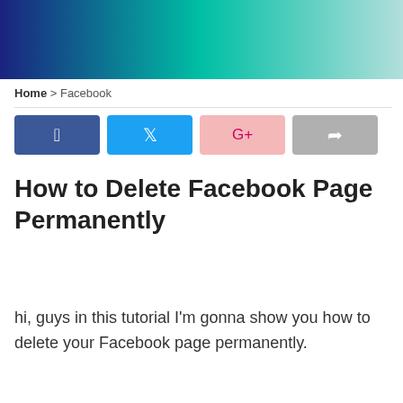[Figure (other): Decorative header banner with gradient from dark navy blue to teal/mint green]
Home > Facebook
[Figure (infographic): Social share buttons: Facebook (dark blue), Twitter (light blue), Google+ (pink), Share (gray)]
How to Delete Facebook Page Permanently
hi, guys in this tutorial I'm gonna show you how to delete your Facebook page permanently.